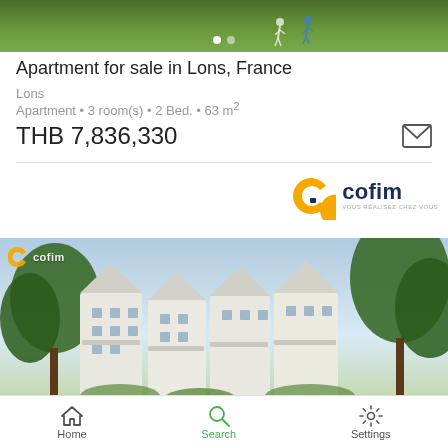[Figure (photo): Top portion of a green grassy landscape photo with two people walking, carousel navigation dots visible]
Apartment for sale in Lons, France
Lons
Apartment • 3 room(s) • 2 Bed. • 63 m²
THB 7,836,330
[Figure (logo): Cofim real estate agency logo with yellow C shape and dark blue text]
[Figure (photo): Modern apartment building rendering showing white residential buildings with balconies surrounded by trees, Cofim watermark visible]
Home  Search  Settings